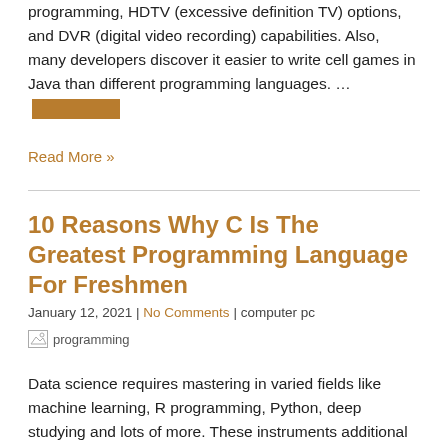programming, HDTV (excessive definition TV) options, and DVR (digital video recording) capabilities. Also, many developers discover it easier to write cell games in Java than different programming languages. … [redacted]
Read More »
10 Reasons Why C Is The Greatest Programming Language For Freshmen
January 12, 2021 | No Comments | computer pc
[Figure (photo): programming image placeholder (broken image icon with alt text 'programming')]
Data science requires mastering in varied fields like machine learning, R programming, Python, deep studying and lots of more. These instruments additional enhance the performance of Java games considerably, and allows developers to port the games to different platforms. There